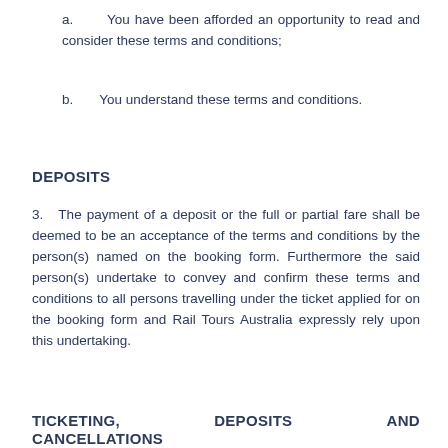a.      You have been afforded an opportunity to read and consider these terms and conditions;
b.      You understand these terms and conditions.
DEPOSITS
3.   The payment of a deposit or the full or partial fare shall be deemed to be an acceptance of the terms and conditions by the person(s) named on the booking form. Furthermore the said person(s) undertake to convey and confirm these terms and conditions to all persons travelling under the ticket applied for on the booking form and Rail Tours Australia expressly rely upon this undertaking.
TICKETING, DEPOSITS AND CANCELLATIONS